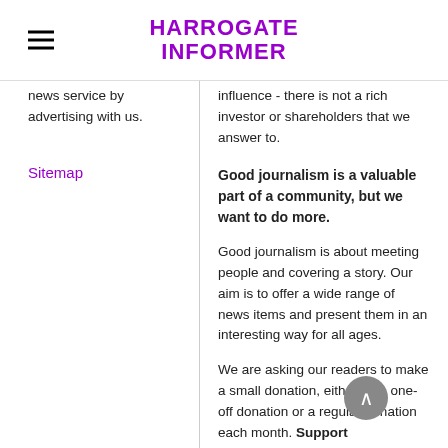HARROGATE INFORMER
news service by advertising with us.
Sitemap
influence - there is not a rich investor or shareholders that we answer to.
Good journalism is a valuable part of a community, but we want to do more.
Good journalism is about meeting people and covering a story. Our aim is to offer a wide range of news items and present them in an interesting way for all ages.
We are asking our readers to make a small donation, either as a one-off donation or a regular donation each month. Support